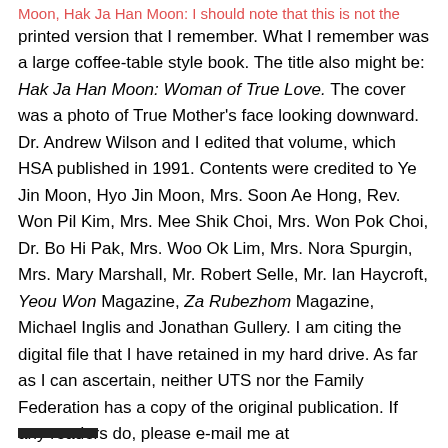Moon, Hak Ja Han Moon: I should note that this is not the printed version that I remember. What I remember was a large coffee-table style book. The title also might be: Hak Ja Han Moon: Woman of True Love. The cover was a photo of True Mother's face looking downward. Dr. Andrew Wilson and I edited that volume, which HSA published in 1991. Contents were credited to Ye Jin Moon, Hyo Jin Moon, Mrs. Soon Ae Hong, Rev. Won Pil Kim, Mrs. Mee Shik Choi, Mrs. Won Pok Choi, Dr. Bo Hi Pak, Mrs. Woo Ok Lim, Mrs. Nora Spurgin, Mrs. Mary Marshall, Mr. Robert Selle, Mr. Ian Haycroft, Yeou Won Magazine, Za Rubezhom Magazine, Michael Inglis and Jonathan Gullery. I am citing the digital file that I have retained in my hard drive. As far as I can ascertain, neither UTS nor the Family Federation has a copy of the original publication. If any readers do, please e-mail me at thendricks@unification.org.)